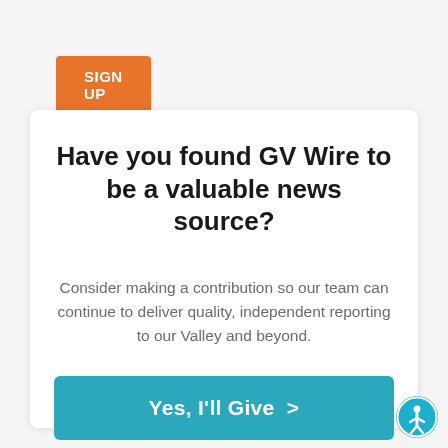SIGN UP
Have you found GV Wire to be a valuable news source?
Consider making a contribution so our team can continue to deliver quality, independent reporting to our Valley and beyond.
Yes, I'll Give  >